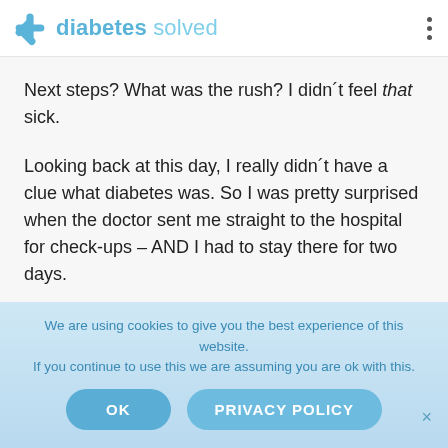diabetes solved
Next steps? What was the rush? I didn´t feel that sick.
Looking back at this day, I really didn´t have a clue what diabetes was. So I was pretty surprised when the doctor sent me straight to the hospital for check-ups – AND I had to stay there for two days.
After more blood tests and check-ups, I was sitting in my hospital bed thinking. My life had been turned upside down...
We are using cookies to give you the best experience of this website. If you continue to use this we are assuming you are ok with this.